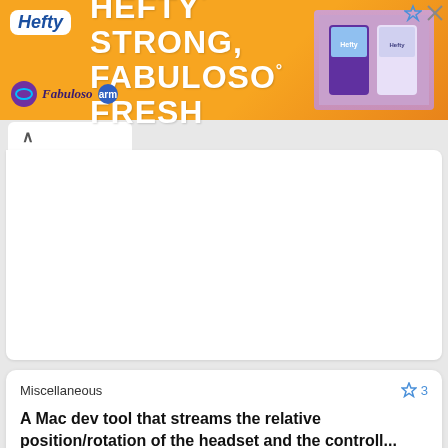[Figure (screenshot): Hefty brand advertisement banner with orange background, 'HEFTY STRONG, FABULOSO FRESH' text, Hefty and Fabuloso logos, and product image on the right]
Miscellaneous
A Mac dev tool that streams the relative position/rotation of the headset and the controll...
Oculus Linkintosh There's no support for Oculus Quest 2 (and the old one) on Mac for development. The only way to test your game is to build and run d